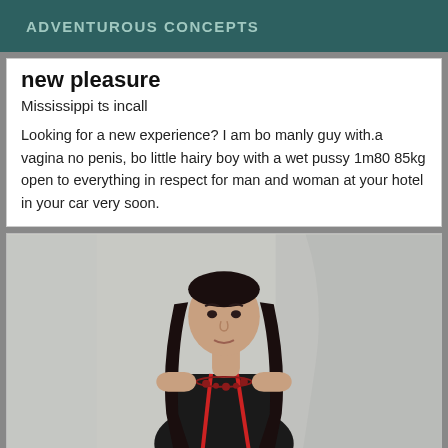ADVENTUROUS CONCEPTS
new pleasure
Mississippi ts incall
Looking for a new experience? I am bo manly guy with.a vagina no penis, bo little hairy boy with a wet pussy 1m80 85kg open to everything in respect for man and woman at your hotel in your car very soon.
[Figure (photo): Photo of a person with long dark hair wearing a red top with a beaded necklace, photographed against a light draped background]